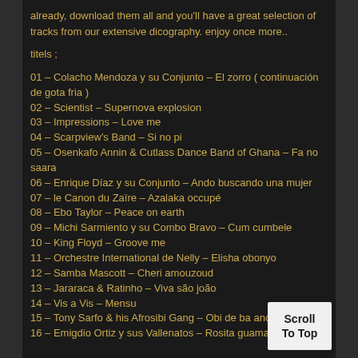already, download them all and you'll have a great selection of tracks from our extensive dicography. enjoy once more..
titels ;
01 – Colacho Mendoza y su Conjunto – El zorro ( continuación de gota fria )
02 – Scientist – Supernova explosion
03 – Impressions – Love me
04 – Scarpview's Band – Si no pi
05 – Osenkafo Annin & Cutlass Dance Band of Ghana – Fa no saara
06 – Enrique Díaz y su Conjunto – Ando buscando una mujer
07 – le Canon du Zaïre – Azalaka occupé
08 – Ebo Taylor – Peace on earth
09 – Michi Sarmiento y su Combo Bravo – Cum cumbele
10 – King Floyd – Groove me
11 – Orchestre International de Nelly – Elisha obonyo
12 – Samba Mascott – Cheri amouzoud
13 – Jararaca & Ratinho – Viva são joão
14 – Vis a Vis – Mensu
15 – Tony Sarfo & his Afrosibi Gang – Obi de ba anopa
16 – Emigdio Ortiz y sus Vallenatos – Rosita guamalera